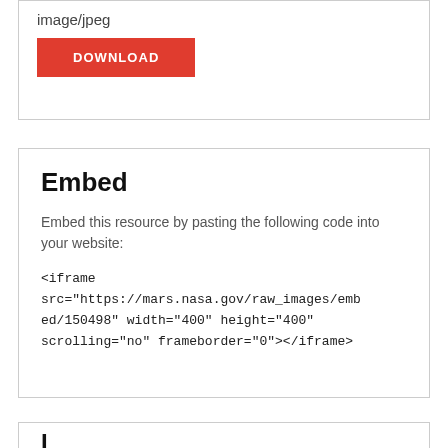image/jpeg
DOWNLOAD
Embed
Embed this resource by pasting the following code into your website:
<iframe src="https://mars.nasa.gov/raw_images/embed/150498" width="400" height="400" scrolling="no" frameborder="0"></iframe>